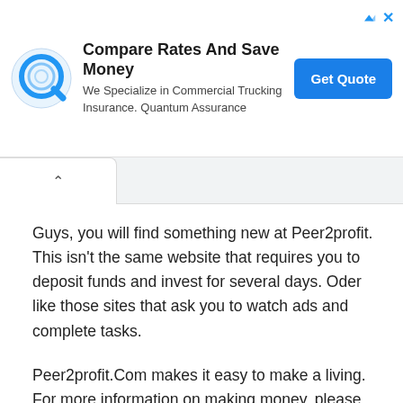[Figure (other): Advertisement banner with Quantum Assurance logo (blue Q circle icon), headline 'Compare Rates And Save Money', subtext 'We Specialize in Commercial Trucking Insurance. Quantum Assurance', and a blue 'Get Quote' button. Navigation arrow and X icons in top-right corner.]
Guys, you will find something new at Peer2profit. This isn't the same website that requires you to deposit funds and invest for several days. Oder like those sites that ask you to watch ads and complete tasks.
Peer2profit.Com makes it easy to make a living. For more information on making money, please read this peer2profit.com review.